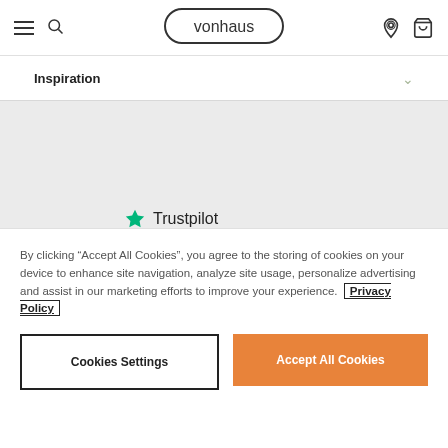vonhaus
Inspiration
[Figure (logo): Trustpilot logo with green star and rating: TrustScore 4.3, 16,326 reviews, shown with 4.3 out of 5 green star rating]
By clicking “Accept All Cookies”, you agree to the storing of cookies on your device to enhance site navigation, analyze site usage, personalize advertising and assist in our marketing efforts to improve your experience. Privacy Policy
Cookies Settings
Accept All Cookies